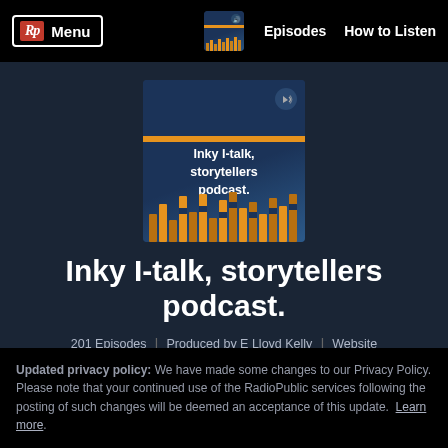Rp Menu | Episodes | How to Listen
[Figure (illustration): Podcast artwork for Inky I-talk, storytellers podcast — dark blue background with orange stripe, white title text, golden bar chart graphic at bottom, speaker icon top right]
Inky I-talk, storytellers podcast.
201 Episodes | Produced by E Lloyd Kelly | Website
Updated privacy policy: We have made some changes to our Privacy Policy. Please note that your continued use of the RadioPublic services following the posting of such changes will be deemed an acceptance of this update. Learn more.